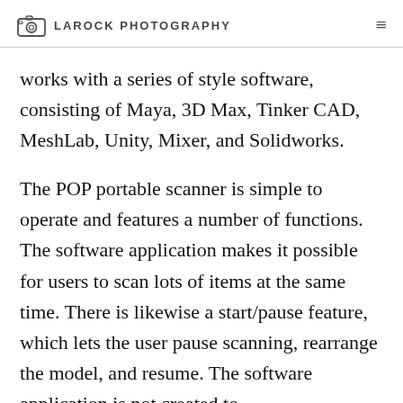LAROCK PHOTOGRAPHY
works with a series of style software, consisting of Maya, 3D Max, Tinker CAD, MeshLab, Unity, Mixer, and Solidworks.
The POP portable scanner is simple to operate and features a number of functions. The software application makes it possible for users to scan lots of items at the same time. There is likewise a start/pause feature, which lets the user pause scanning, rearrange the model, and resume. The software application is not created to